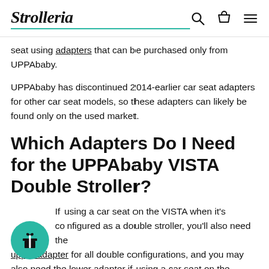Strolleria
seat using adapters that can be purchased only from UPPAbaby.
UPPAbaby has discontinued 2014-earlier car seat adapters for other car seat models, so these adapters can likely be found only on the used market.
Which Adapters Do I Need for the UPPAbaby VISTA Double Stroller?
If using a car seat on the VISTA when it's configured as a double stroller, you'll also need the upper adapter for all double configurations, and you may also need the lower adapter if using a car seat on the